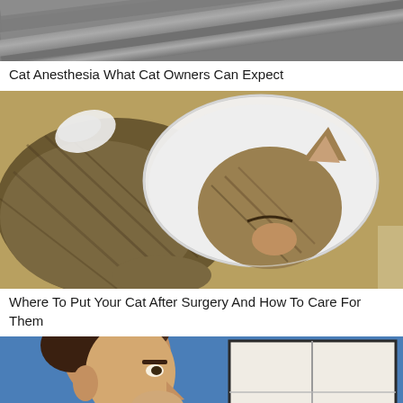[Figure (photo): Photo of wooden slats / decking surface in gray tones, partially cropped at top of page]
Cat Anesthesia What Cat Owners Can Expect
[Figure (photo): Close-up photo of a tabby cat wearing a white Elizabethan cone collar after surgery, lying down with eyes closed, with a bandage visible near the neck]
Where To Put Your Cat After Surgery And How To Care For Them
[Figure (illustration): Illustration showing a stylized man's profile face on the left against a blue background, and a framed room corner (two white panels meeting at a corner) on the right]